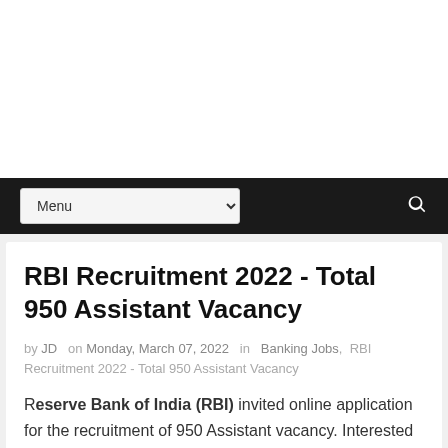Menu
RBI Recruitment 2022 - Total 950 Assistant Vacancy
by JD  on Monday, March 07, 2022  in  Banking Jobs,  RBI Recruitment 2022 - Total 950 Assistant Vacancy
Reserve Bank of India (RBI) invited online application for the recruitment of 950 Assistant vacancy. Interested and eligible candidates may visit the official RBI website and apply for the vacancies within 8th of March 2022.